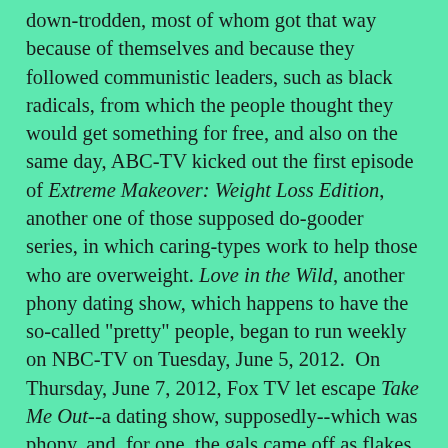down-trodden, most of whom got that way because of themselves and because they followed communistic leaders, such as black radicals, from which the people thought they would get something for free, and also on the same day, ABC-TV kicked out the first episode of Extreme Makeover: Weight Loss Edition, another one of those supposed do-gooder series, in which caring-types work to help those who are overweight. Love in the Wild, another phony dating show, which happens to have the so-called "pretty" people, began to run weekly on NBC-TV on Tuesday, June 5, 2012.  On Thursday, June 7, 2012, Fox TV let escape Take Me Out--a dating show, supposedly--which was phony, and, for one, the gals came off as flakes, and Fox TV also on the same day stuck viewers with The Choice, another phony dating series with so-called celebrities.  Why the hell would any good person want to see almost all the people of these series on a weekly basis?  Such crap these series all are, and that is